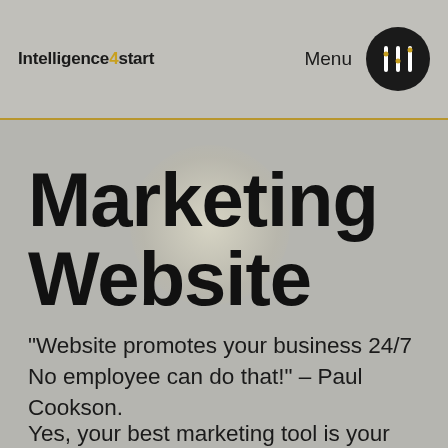Intelligence4start   Menu
Marketing Website
“Website promotes your business 24/7 No employee can do that!” – Paul Cookson.
Yes, your best marketing tool is your website. Even if you